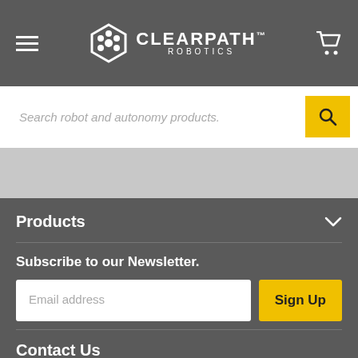[Figure (logo): Clearpath Robotics logo with hexagonal robot icon and brand name]
Search robot and autonomy products.
Products
Subscribe to our Newsletter.
Email address
Sign Up
Contact Us
1425 Strasburg Rd, Suite 2A,